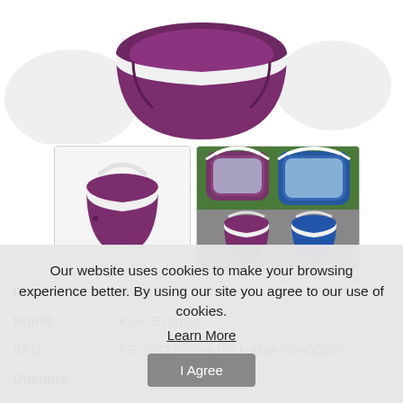[Figure (photo): Close-up of a purple collapsible silicone bucket with white rim, shown from above at an angle against a white background with light gray decorative shapes]
[Figure (photo): Small thumbnail of a purple collapsible silicone bucket with white handle on white background]
[Figure (photo): Small thumbnail showing two flattened collapsible buckets (purple and blue) and two expanded collapsible buckets (purple and blue) on grass/pavement]
| Price: | $54.95 |
| Brand: | Kylin Express |
| SKU: | KE-SPO3258961011-AMANDA00982 |
| Quantity: |  |
Our website uses cookies to make your browsing experience better. By using our site you agree to our use of cookies.
Learn More
I Agree